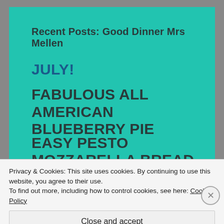Recent Posts: Good Dinner Mrs Mellen
JULY!
FABULOUS ALL AMERICAN BLUEBERRY PIE
EASY PESTO MOZZARELLA BREAD
ROSÉ APEROL SPIRITZ
STRAWBERRIES AND CREAM CAKE
Privacy & Cookies: This site uses cookies. By continuing to use this website, you agree to their use. To find out more, including how to control cookies, see here: Cookie Policy
Close and accept